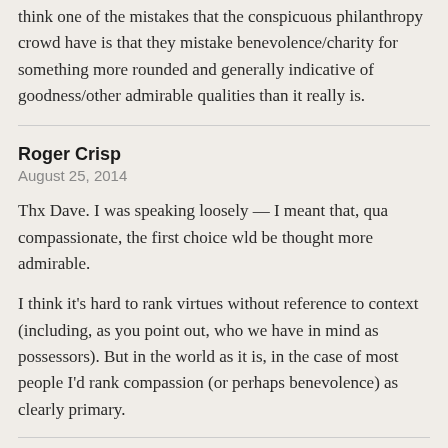think one of the mistakes that the conspicuous philanthropy crowd have is that they mistake benevolence/charity for something more rounded and generally indicative of goodness/other admirable qualities than it really is.
Roger Crisp
August 25, 2014
Thx Dave. I was speaking loosely — I meant that, qua compassionate, the first choice wld be thought more admirable.
I think it's hard to rank virtues without reference to context (including, as you point out, who we have in mind as possessors). But in the world as it is, in the case of most people I'd rank compassion (or perhaps benevolence) as clearly primary.
-
September 1, 2014
Someone just sent me a link to the debate in Boston Review started by Paul Bloom on August 26. It is